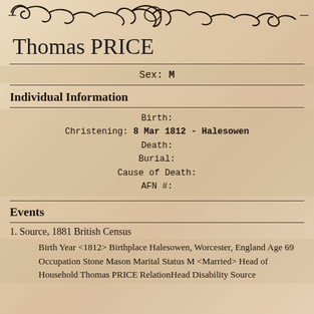[Figure (illustration): Decorative ornamental scrollwork divider at top of page]
Thomas PRICE
Sex: M
Individual Information
Birth:
Christening: 8 Mar 1812 - Halesowen
Death:
Burial:
Cause of Death:
AFN #:
Events
1. Source, 1881 British Census
Birth Year <1812> Birthplace Halesowen, Worcester, England Age 69 Occupation Stone Mason Marital Status M <Married> Head of Household Thomas PRICE RelationHead Disability Source